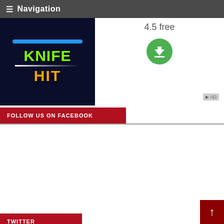Navigation
[Figure (screenshot): Knife Hit game app screenshot with green KNIFE and orange HIT text on dark background, with download button and 4.5 free rating]
FOLLOW US ON FACEBOOK
[Figure (screenshot): Facebook page widget for Radio Biafra showing 663,764 likes, with Like Page and Share buttons]
TWITTER